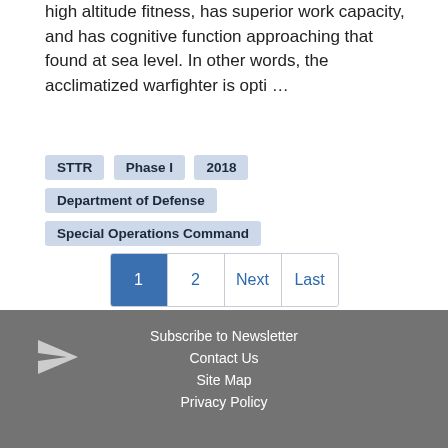high altitude fitness, has superior work capacity, and has cognitive function approaching that found at sea level. In other words, the acclimatized warfighter is opti …
STTR
Phase I
2018
Department of Defense
Special Operations Command
1  2  Next  Last
Subscribe to Newsletter
Contact Us
Site Map
Privacy Policy